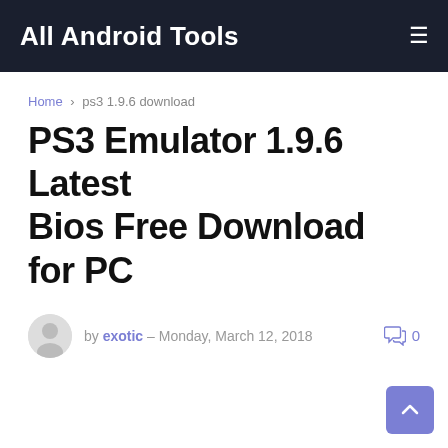All Android Tools
Home › ps3 1.9.6 download
PS3 Emulator 1.9.6 Latest Bios Free Download for PC
by exotic – Monday, March 12, 2018  0